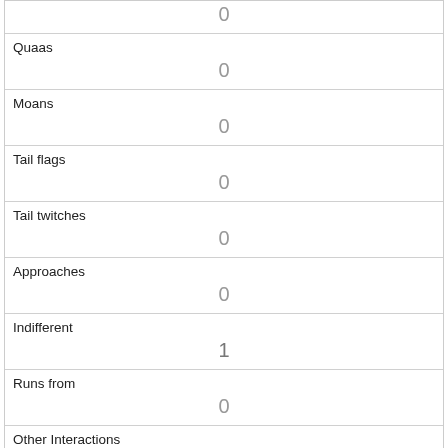| Quaas | 0 |
| Moans | 0 |
| Tail flags | 0 |
| Tail twitches | 0 |
| Approaches | 0 |
| Indifferent | 1 |
| Runs from | 0 |
| Other Interactions |  |
| Lat/Long | POINT (-73.9651754464439 40.7755181941559) |
| Link |  |